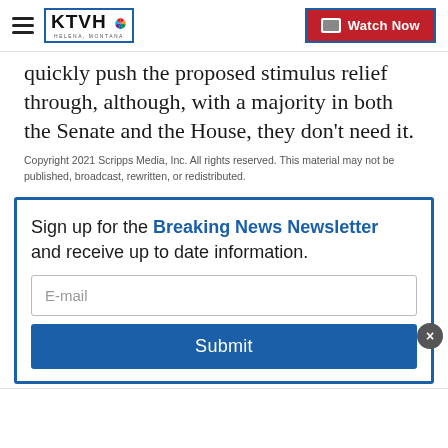KTVH - Helena, Montana | Watch Now
quickly push the proposed stimulus relief through, although, with a majority in both the Senate and the House, they don't need it.
Copyright 2021 Scripps Media, Inc. All rights reserved. This material may not be published, broadcast, rewritten, or redistributed.
Sign up for the Breaking News Newsletter and receive up to date information.
E-mail
Submit